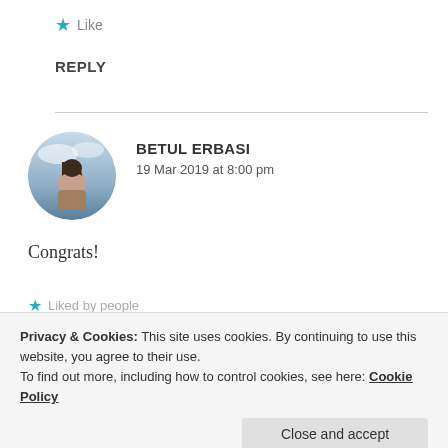★ Like
REPLY
[Figure (photo): Circular avatar photo of Betul Erbasi, a woman standing outdoors with a cloudy sky background]
BETUL ERBASI
19 Mar 2019 at 8:00 pm
Congrats!
★ Liked by people
Privacy & Cookies: This site uses cookies. By continuing to use this website, you agree to their use.
To find out more, including how to control cookies, see here: Cookie Policy
Close and accept
[Figure (photo): Partial circular avatar at bottom left]
ZEALOUS HOMO SAPIENS